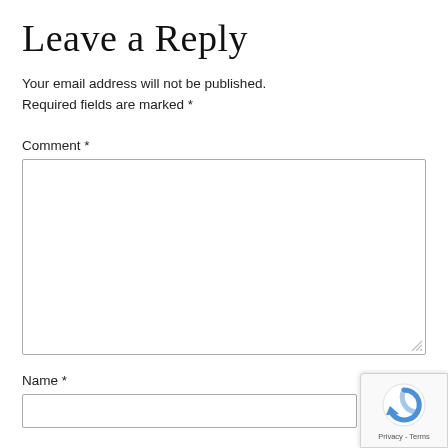Leave a Reply
Your email address will not be published. Required fields are marked *
Comment *
[Figure (other): Empty comment textarea input box with resize handle in bottom-right corner]
Name *
[Figure (other): Empty name text input field]
[Figure (other): reCAPTCHA badge with spinning logo and Privacy - Terms links]